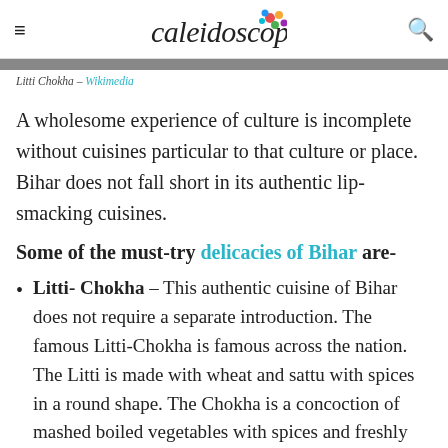Caleidoscope
Litti Chokha – Wikimedia
A wholesome experience of culture is incomplete without cuisines particular to that culture or place. Bihar does not fall short in its authentic lip-smacking cuisines.
Some of the must-try delicacies of Bihar are-
Litti- Chokha – This authentic cuisine of Bihar does not require a separate introduction. The famous Litti-Chokha is famous across the nation. The Litti is made with wheat and sattu with spices in a round shape. The Chokha is a concoction of mashed boiled vegetables with spices and freshly cut onions and garlic. The Litti